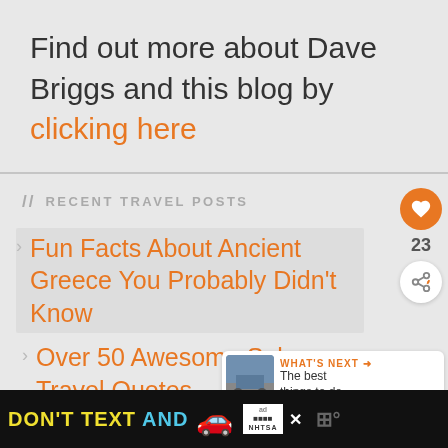Find out more about Dave Briggs and this blog by clicking here
// RECENT TRAVEL POSTS
Fun Facts About Ancient Greece You Probably Didn't Know
Over 50 Awesome Solo Travel Quotes
7 Most Important Ancient Sites
[Figure (infographic): Ad banner: DON'T TEXT AND [car emoji] with NHTSA logo and close button, dark background]
WHAT'S NEXT → The best things to do ...